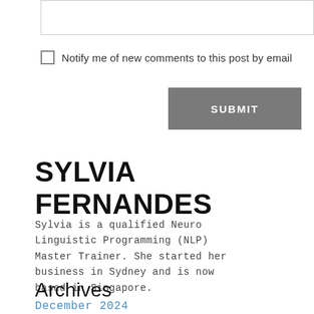[input box]
Notify me of new comments to this post by email
SUBMIT
SYLVIA FERNANDES
Sylvia is a qualified Neuro Linguistic Programming (NLP) Master Trainer. She started her business in Sydney and is now based in Singapore.
Archives
December 2024